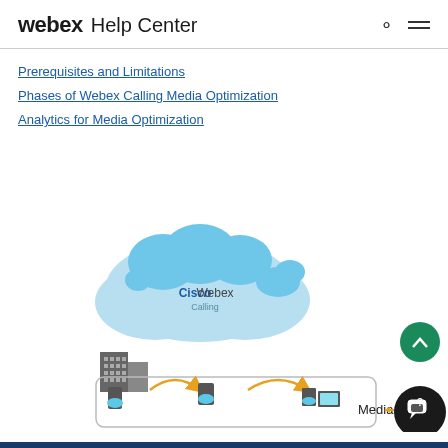webex Help Center
Prerequisites and Limitations
Phases of Webex Calling Media Optimization
Analytics for Media Optimization
[Figure (illustration): Cisco Webex Calling cloud diagram with building icons, phones, tablets and laptops connected by orange arrows, with a Media label and chat button on the right side.]